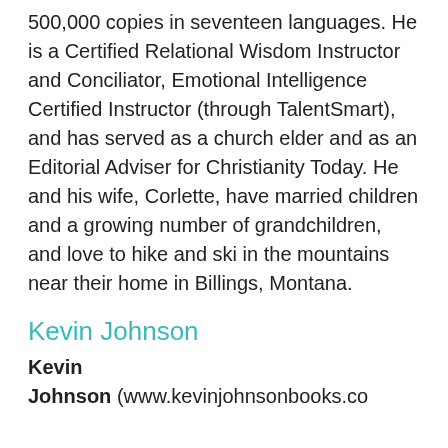500,000 copies in seventeen languages. He is a Certified Relational Wisdom Instructor and Conciliator, Emotional Intelligence Certified Instructor (through TalentSmart), and has served as a church elder and as an Editorial Adviser for Christianity Today. He and his wife, Corlette, have married children and a growing number of grandchildren, and love to hike and ski in the mountains near their home in Billings, Montana.
Kevin Johnson
Kevin Johnson (www.kevinjohnsonbooks.co m) is the creator of the first of its...